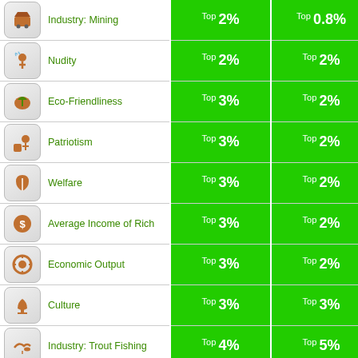| Icon | Category | Col1 | Col2 |
| --- | --- | --- | --- |
| Industry: Mining | Top 2% | Top 0.8% |
| Nudity | Top 2% | Top 2% |
| Eco-Friendliness | Top 3% | Top 2% |
| Patriotism | Top 3% | Top 2% |
| Welfare | Top 3% | Top 2% |
| Average Income of Rich | Top 3% | Top 2% |
| Economic Output | Top 3% | Top 2% |
| Culture | Top 3% | Top 3% |
| Industry: Trout Fishing | Top 4% | Top 5% |
| Intelligence | Top 4% | Top 3% |
| Environmental Beauty | Top 4% | Top 3% |